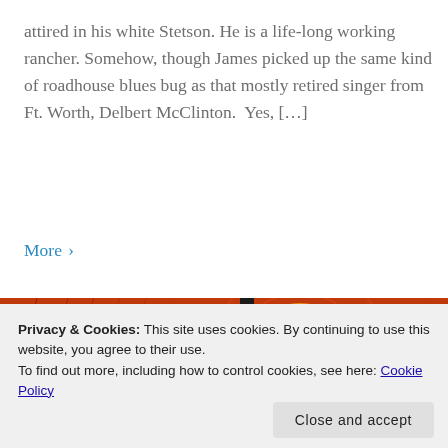attired in his white Stetson. He is a life-long working rancher. Somehow, though James picked up the same kind of roadhouse blues bug as that mostly retired singer from Ft. Worth, Delbert McClinton.  Yes, […]
More ›
[Figure (illustration): Album or promotional artwork with orange/red concentric circle background design, silhouette of a person and building, with text 'What Goes Around Comes Around' arranged in a circle]
Privacy & Cookies: This site uses cookies. By continuing to use this website, you agree to their use.
To find out more, including how to control cookies, see here: Cookie Policy
Close and accept